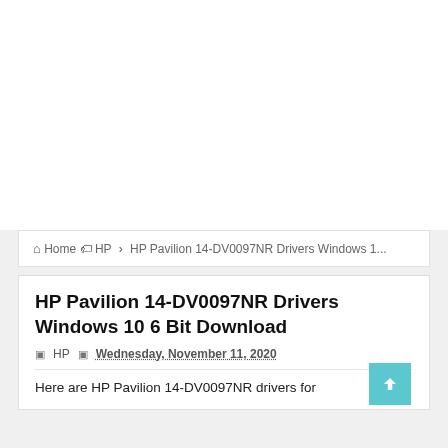Home > HP > HP Pavilion 14-DV0097NR Drivers Windows 1...
HP Pavilion 14-DV0097NR Drivers Windows 10 6 Bit Download
HP   Wednesday, November 11, 2020
Here are HP Pavilion 14-DV0097NR drivers for